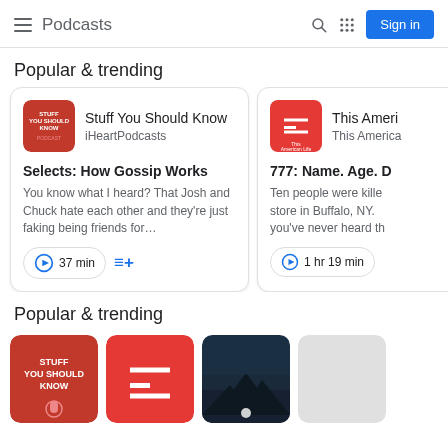Podcasts  Sign in
Popular & trending
[Figure (screenshot): Podcast card: Stuff You Should Know – iHeartPodcasts. Episode: Selects: How Gossip Works. Description: You know what I heard? That Josh and Chuck hate each other and they're just faking being friends for… Duration: 37 min. Play button and queue button shown.]
[Figure (screenshot): Partial podcast card: This American Life. Episode: 777: Name. Age. D… Description: Ten people were killed store in Buffalo, NY. you've never heard th… Duration: 1 hr 19 min.]
Popular & trending
[Figure (screenshot): Bottom row of podcast thumbnails: Stuff You Should Know (red), This American Life (red), a dark landscape image, and a gray placeholder.]